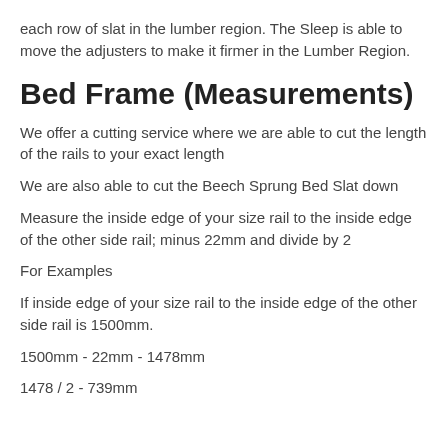each row of slat in the lumber region. The Sleep is able to move the adjusters to make it firmer in the Lumber Region.
Bed Frame (Measurements)
We offer a cutting service where we are able to cut the length of the rails to your exact length
We are also able to cut the Beech Sprung Bed Slat down
Measure the inside edge of your size rail to the inside edge of the other side rail; minus 22mm and divide by 2
For Examples
If inside edge of your size rail to the inside edge of the other side rail is 1500mm.
1500mm - 22mm - 1478mm
1478 / 2 - 739mm